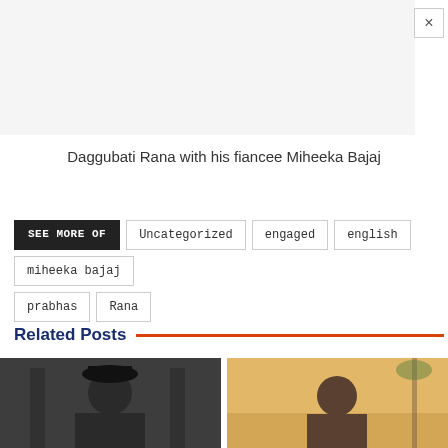[Figure (photo): Advertisement banner area with light gray background and close (X) button in top right corner]
Daggubati Rana with his fiancee Miheeka Bajaj
SEE MORE OF
Uncategorized
engaged
english
miheeka bajaj
prabhas
Rana
Related Posts
[Figure (photo): Left related post image showing a person wearing a black hat and glasses]
[Figure (photo): Right related post image showing a person outdoors with warm background]